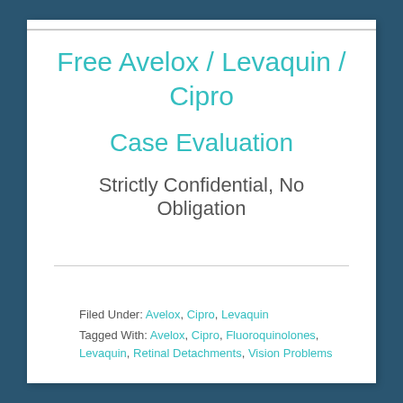Free Avelox / Levaquin / Cipro
Case Evaluation
Strictly Confidential, No Obligation
Filed Under: Avelox, Cipro, Levaquin
Tagged With: Avelox, Cipro, Fluoroquinolones, Levaquin, Retinal Detachments, Vision Problems